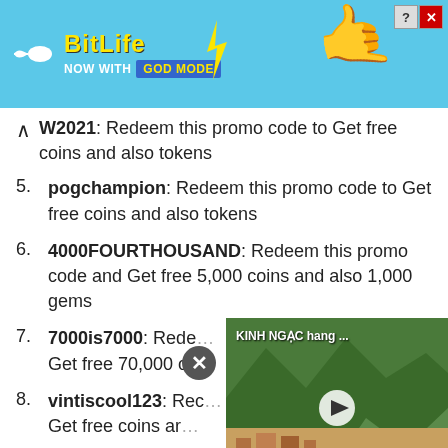[Figure (screenshot): BitLife advertisement banner with 'NOW WITH GOD MODE' text on blue background with hand graphic]
W2021: Redeem this promo code to Get free coins and also tokens
5. pogchampion: Redeem this promo code to Get free coins and also tokens
6. 4000FOURTHOUSAND: Redeem this promo code and Get free 5,000 coins and also 1,000 gems
7. 7000is7000: Redeem this promo code to Get free 70,000 coins
8. vintiscool123: Redeem this promo code to Get free coins and also tokens
9. aura: Redeem this promo code and Get free
[Figure (screenshot): Floating video popup showing 'KINH NGAC hang ...' with aerial landscape view and play button]